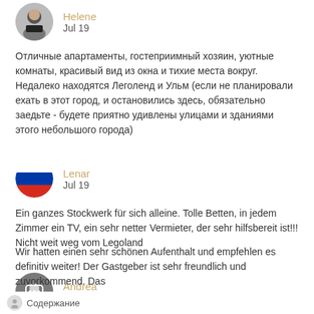Отличные апартаменты, гостеприимный хозяин, уютные комнаты, красивый вид из окна и тихие места вокруг. Недалеко находятся Леголенд и Ульм (если не планировали ехать в этот город, и остановились здесь, обязательно заедьте - будете приятно удивлены улицами и зданиями этого небольшого города)
Ein ganzes Stockwerk für sich alleine. Tolle Betten, in jedem Zimmer ein TV, ein sehr netter Vermieter, der sehr hilfsbereit ist!!! Nicht weit weg vom Legoland
Wir hatten einen sehr schönen Aufenthalt und empfehlen es definitiv weiter! Der Gastgeber ist sehr freundlich und zuvorkommend. Das